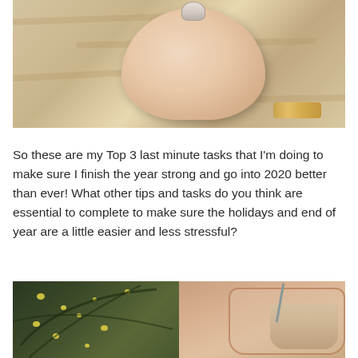[Figure (photo): Close-up photo of a person's hand holding something small (appears to be a ring or small object), with a gold/metallic bracelet on the wrist. Wooden table surface visible in background.]
So these are my Top 3 last minute tasks that I'm doing to make sure I finish the year strong and go into 2020 better than ever! What other tips and tasks do you think are essential to complete to make sure the holidays and end of year are a little easier and less stressful?
[Figure (photo): Two photos side by side at the bottom: left shows green and yellow spotted tropical leaves (polka dot plant), right shows a glass with an iced coffee or latte drink with a spoon.]